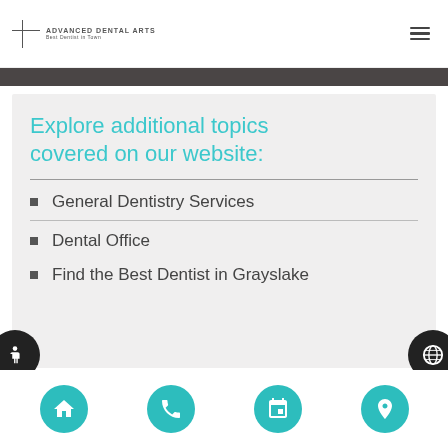Advanced Dental Arts
Explore additional topics covered on our website:
General Dentistry Services
Dental Office
Find the Best Dentist in Grayslake